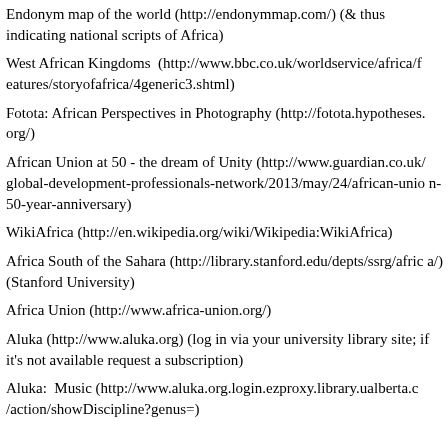Endonym map of the world (http://endonymmap.com/) (& thus indicating national scripts of Africa)
West African Kingdoms  (http://www.bbc.co.uk/worldservice/africa/features/storyofafrica/4generic3.shtml)
Fotota: African Perspectives in Photography (http://fotota.hypotheses.org/)
African Union at 50 - the dream of Unity (http://www.guardian.co.uk/global-development-professionals-network/2013/may/24/african-union-50-year-anniversary)
WikiAfrica (http://en.wikipedia.org/wiki/Wikipedia:WikiAfrica)
Africa South of the Sahara (http://library.stanford.edu/depts/ssrg/africa/) (Stanford University)
Africa Union (http://www.africa-union.org/)
Aluka (http://www.aluka.org) (log in via your university library site; if it's not available request a subscription)
Aluka:  Music (http://www.aluka.org.login.ezproxy.library.ualberta.c/action/showDiscipline?genus=)